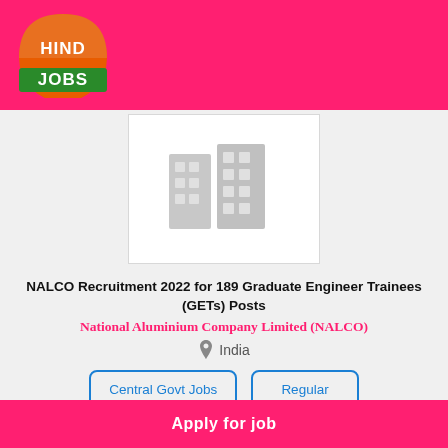[Figure (logo): Hind Jobs logo: orange semicircle with HIND text on top, green base with JOBS text]
[Figure (illustration): Placeholder company image: two gray building icons on white background]
NALCO Recruitment 2022 for 189 Graduate Engineer Trainees (GETs) Posts
National Aluminium Company Limited (NALCO)
India
Central Govt Jobs
Regular
3 weeks ago
Apply for job